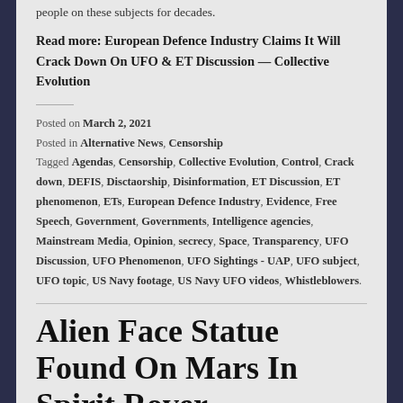people on these subjects for decades.
Read more: European Defence Industry Claims It Will Crack Down On UFO & ET Discussion — Collective Evolution
Posted on March 2, 2021
Posted in Alternative News, Censorship
Tagged Agendas, Censorship, Collective Evolution, Control, Crack down, DEFIS, Disctaorship, Disinformation, ET Discussion, ET phenomenon, ETs, European Defence Industry, Evidence, Free Speech, Government, Governments, Intelligence agencies, Mainstream Media, Opinion, secrecy, Space, Transparency, UFO Discussion, UFO Phenomenon, UFO Sightings - UAP, UFO subject, UFO topic, US Navy footage, US Navy UFO videos, Whistleblowers.
Alien Face Statue Found On Mars In Spirit Rover